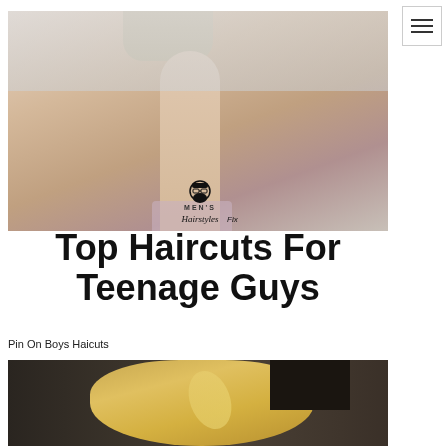[Figure (photo): Side profile photo of a teenage boy's face and neck, light background, watermark 'MEN'S HairstylesFix' logo overlaid with text 'Top Haircuts For Teenage Guys']
Pin On Boys Haicuts
[Figure (photo): Dark background photo showing blond hair of a teenage boy, partial view from above]